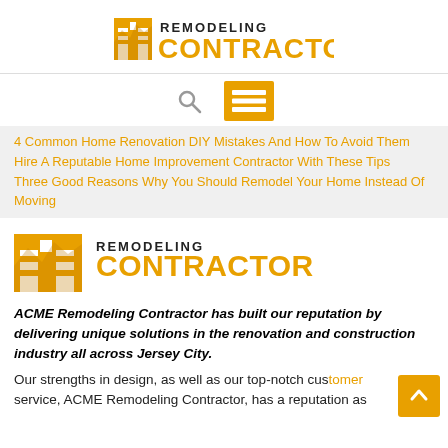[Figure (logo): Remodeling Contractor logo with golden building icon, bold black REMODELING text and golden CONTRACTOR text]
[Figure (infographic): Navigation icons: search magnifying glass and golden hamburger menu button]
4 Common Home Renovation DIY Mistakes And How To Avoid Them
Hire A Reputable Home Improvement Contractor With These Tips
Three Good Reasons Why You Should Remodel Your Home Instead Of Moving
[Figure (logo): Remodeling Contractor logo larger version with golden building icon, bold black REMODELING and golden CONTRACTOR]
ACME Remodeling Contractor has built our reputation by delivering unique solutions in the renovation and construction industry all across Jersey City.
Our strengths in design, as well as our top-notch customer service, ACME Remodeling Contractor, has a reputation as